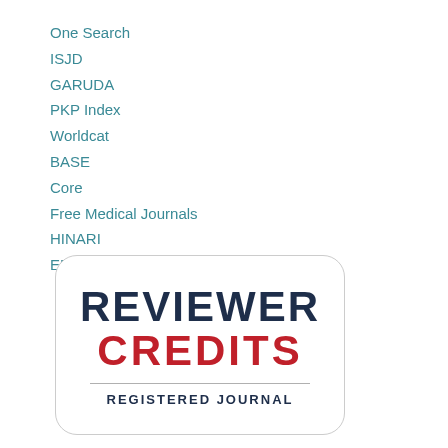One Search
ISJD
GARUDA
PKP Index
Worldcat
BASE
Core
Free Medical Journals
HINARI
EBSCO
[Figure (logo): ReviewerCredits Registered Journal badge — rounded rectangle border, 'REVIEWER' in dark navy bold uppercase, 'CREDITS' in dark red bold uppercase, horizontal divider line, 'REGISTERED JOURNAL' in navy bold uppercase below.]